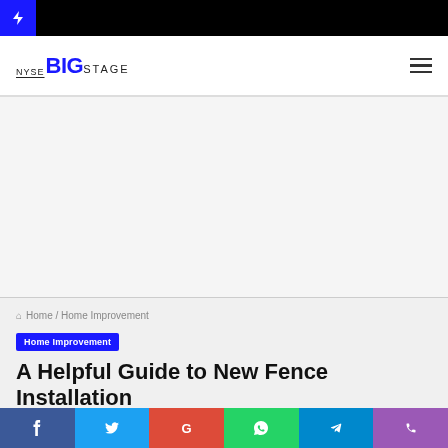NYSE BIG STAGE
[Figure (screenshot): Advertisement / blank ad space area]
Home / Home Improvement
Home Improvement
A Helpful Guide to New Fence Installation
Social share bar: Facebook, Twitter, Google, WhatsApp, Telegram, Phone